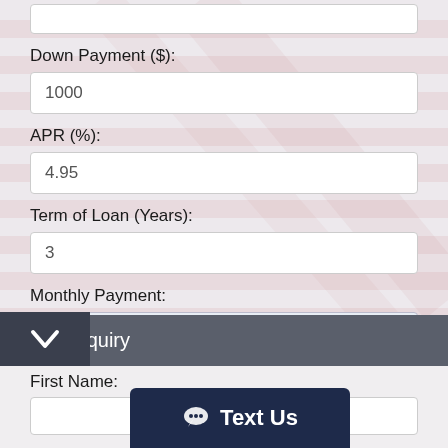Down Payment ($):
1000
APR (%):
4.95
Term of Loan (Years):
3
Monthly Payment:
Inquiry
First Name:
Text Us